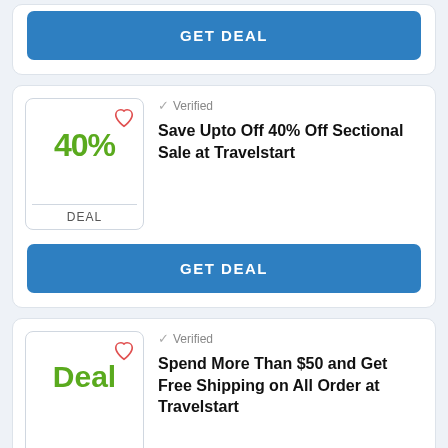GET DEAL
✓ Verified
Save Upto Off 40% Off Sectional Sale at Travelstart
40%
DEAL
GET DEAL
✓ Verified
Spend More Than $50 and Get Free Shipping on All Order at Travelstart
Deal